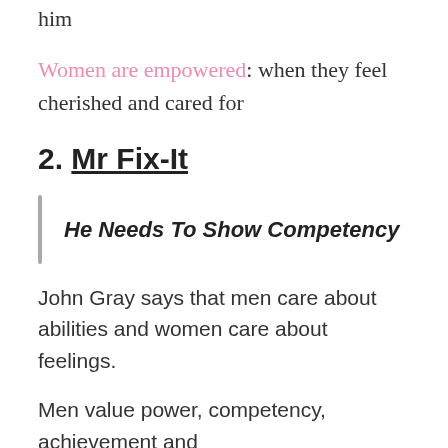him
Women are empowered: when they feel cherished and cared for
2. Mr Fix-It
He Needs To Show Competency
John Gray says that men care about abilities and women care about feelings.
Men value power, competency, achievement and